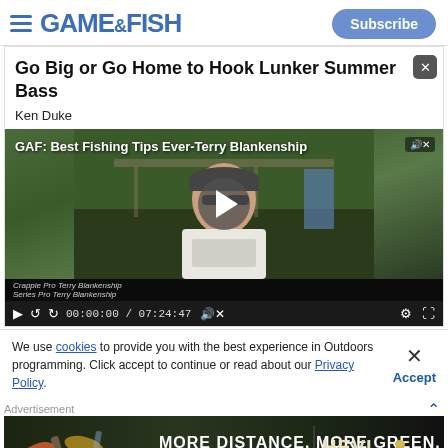GAME & FISH | Subscribe
Go Big or Go Home to Hook Lunker Summer Bass
Ken Duke
[Figure (screenshot): Video player showing 'GAF: Best Fishing Tips Ever-Terry Blankenship' with a man in sunglasses and a baseball cap. Timestamp shows 00:00:00 / 07:24:47. Subtitle: 'Crappie Pro Terry Blankenship'.]
We use cookies to provide you with the best experience in Outdoors programming. Click accept to continue or read about our Privacy Policy.
[Figure (other): Advertisement banner: MORE DISTANCE. MORE GREEN. HEVI-SHOT | HEVI METAL LONGER RANGE. BANG DEAD.]